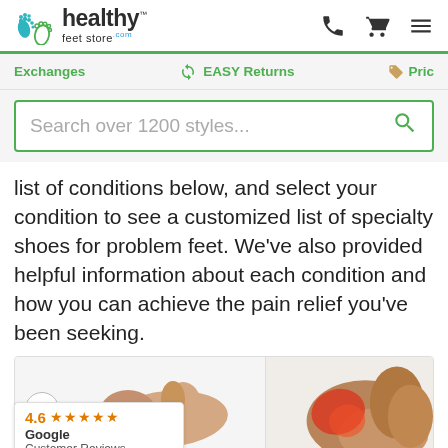healthy feet store
Exchanges  EASY Returns  Pric
Search over 1200 styles...
list of conditions below, and select your condition to see a customized list of specialty shoes for problem feet. We’ve also provided helpful information about each condition and how you can achieve the pain relief you’ve been seeking.
[Figure (photo): Two product/foot images side by side in card layout. Left card shows a foot/heel region with a circular navigation button. Right card shows an ankle with a red highlighted area indicating pain. Bottom left shows a Google review badge with 4.6 stars.]
4.6 ★★★★★ Google Customer Reviews